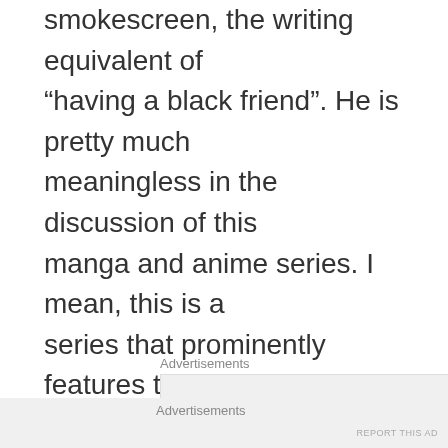smokescreen, the writing equivalent of “having a black friend”. He is pretty much meaningless in the discussion of this manga and anime series. I mean, this is a series that prominently features two German characters named “Adolf” and “Eva” who share a close relationship, and are portrayed in an overwhelmingly positive positive light. That on its own shouldn’t mean anything, but in the face of all that other stuff… I mean come on.
Advertisements
Advertisements